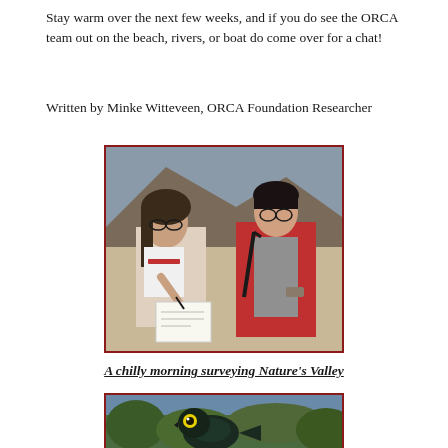Stay warm over the next few weeks, and if you do see the ORCA team out on the beach, rivers, or boat do come over for a chat!
Written by Minke Witteveen, ORCA Foundation Researcher
[Figure (photo): Two researchers outdoors, one writing notes and one in a red jacket, in a rocky/sandy landscape. Bordered with dark red frame.]
A chilly morning surveying Nature's Valley
[Figure (photo): Close-up of a dark bird (likely a Cape Glossy Starling) with a vivid yellow eye, with green foliage and blue sky in background. Bordered with dark red frame.]